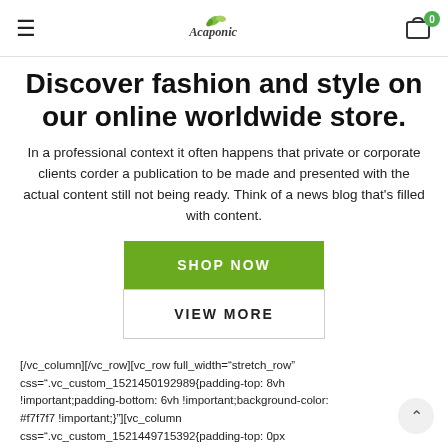≡ [logo: Acaponic] [cart icon: 0]
Discover fashion and style on our online worldwide store.
In a professional context it often happens that private or corporate clients corder a publication to be made and presented with the actual content still not being ready. Think of a news blog that's filled with content.
SHOP NOW
VIEW MORE
[/vc_column][/vc_row][vc_row full_width="stretch_row" css=".vc_custom_1521450192989{padding-top: 8vh !important;padding-bottom: 6vh !important;background-color: #f7f7f7 !important;}"][vc_column css=".vc_custom_1521449715392{padding-top: 0px !important;}"]